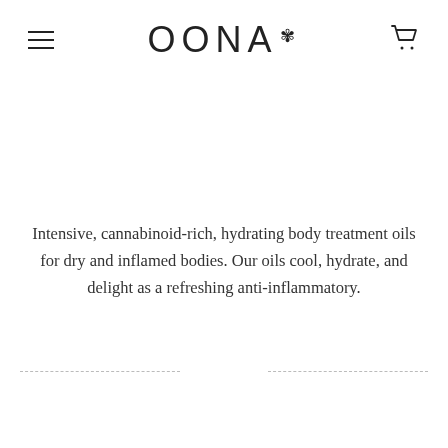OONA (with leaf icon and hamburger menu and cart icon)
Intensive, cannabinoid-rich, hydrating body treatment oils for dry and inflamed bodies. Our oils cool, hydrate, and delight as a refreshing anti-inflammatory.